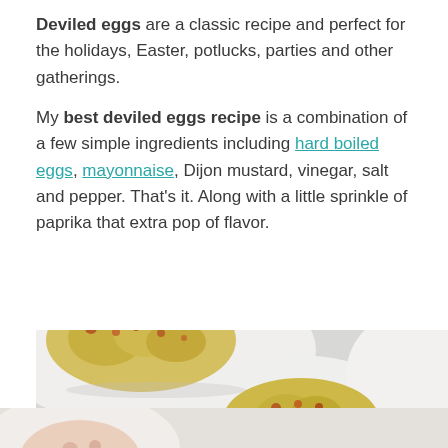Deviled eggs are a classic recipe and perfect for the holidays, Easter, potlucks, parties and other gatherings.
My best deviled eggs recipe is a combination of a few simple ingredients including hard boiled eggs, mayonnaise, Dijon mustard, vinegar, salt and pepper. That's it. Along with a little sprinkle of paprika that extra pop of flavor.
[Figure (photo): Close-up photo of deviled eggs topped with yellow filling and sprinkled with paprika, arranged on a white surface.]
[Figure (photo): Bottom portion of another food photo partially visible at the bottom of the page.]